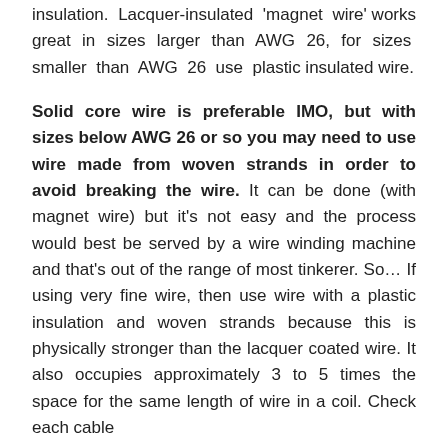insulation. Lacquer-insulated 'magnet wire' works great in sizes larger than AWG 26, for sizes smaller than AWG 26 use plastic insulated wire.
Solid core wire is preferable IMO, but with sizes below AWG 26 or so you may need to use wire made from woven strands in order to avoid breaking the wire. It can be done (with magnet wire) but it's not easy and the process would best be served by a wire winding machine and that's out of the range of most tinkerer. So… If using very fine wire, then use wire with a plastic insulation and woven strands because this is physically stronger than the lacquer coated wire. It also occupies approximately 3 to 5 times the space for the same length of wire in a coil. Check each cable